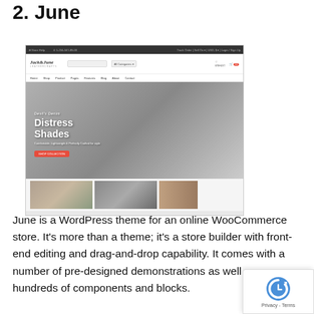2. June
[Figure (screenshot): Screenshot of the June WordPress WooCommerce theme showing the storefront with 'Devil's Denim - Distress Shades' hero banner, navigation, search bar, and thumbnail product images below.]
June is a WordPress theme for an online WooCommerce store. It's more than a theme; it's a store builder with front-end editing and drag-and-drop capability. It comes with a number of pre-designed demonstrations as well as hundreds of components and blocks.